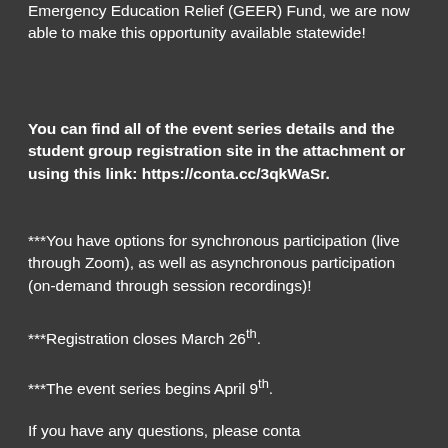Emergency Education Relief (GEER) Fund, we are now able to make this opportunity available statewide!
You can find all of the event series details and the student group registration site in the attachment or using this link: https://conta.cc/3qkWaSr.
***You have options for synchronous participation (live through Zoom), as well as asynchronous participation (on-demand through session recordings)!
***Registration closes March 26th.
***The event series begins April 9th.
If you have any questions, please contact...